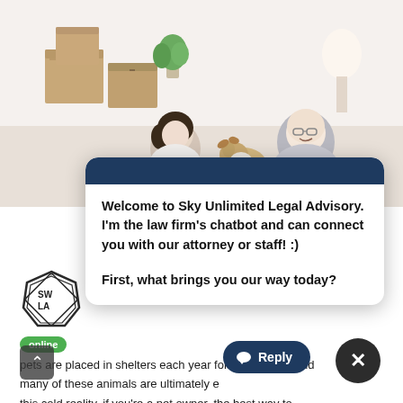[Figure (photo): A couple and their dog lying on the floor surrounded by moving cardboard boxes in a bright apartment, looking at a laptop together.]
Welcome to Sky Unlimited Legal Advisory. I'm the law firm's chatbot and can connect you with our attorney or staff! :)
First, what brings you our way today?
[Figure (logo): Sky Unlimited Legal Advisory logo — a hexagonal/diamond badge with letters SULA inside]
online
pets are placed in shelters each year for this reason, and many of these animals are ultimately e... n this cold reality, if you're a pet owner, the best way to this tragic event is to use estate planning to ensure your